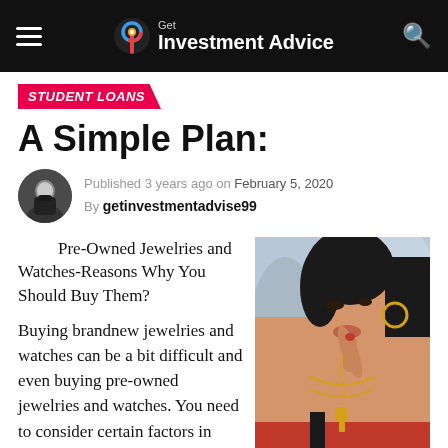Get Investment Advice
STUDENT LOANS
A Simple Plan:
Published 3 years ago on February 5, 2020
By getinvestmentadvise99
Pre-Owned Jewelries and Watches-Reasons Why You Should Buy Them?
[Figure (photo): Close-up photo of a woman wearing gold jewelry and necklaces]
Buying brandnew jewelries and watches can be a bit difficult and even buying pre-owned jewelries and watches. You need to consider certain factors in order for you to purchase the right